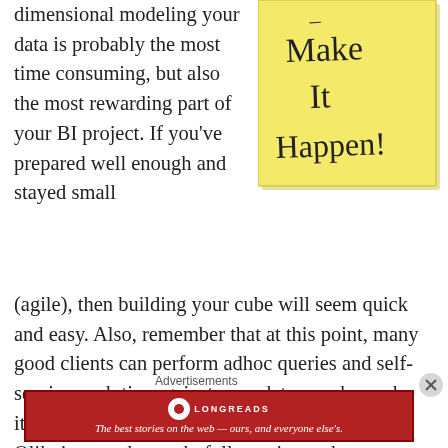dimensional modeling your data is probably the most time consuming, but also the most rewarding part of your BI project. If you've prepared well enough and stayed small (agile), then building your cube will seem quick and easy. Also, remember that at this point, many good clients can perform adhoc queries and self-service analytics against your data warehouse by itself. Clients like PowerPivot, Tableau, and Qlikview work wonderfully against a data warehouse. The potential is there to expand on your
[Figure (photo): Sticky note with handwritten text reading 'Make It Happen!']
Advertisements
[Figure (logo): Longreads advertisement banner: 'The best stories on the web — ours, and everyone else's.']